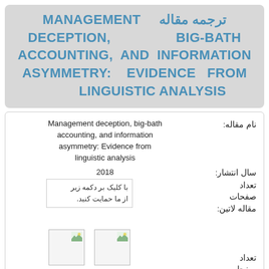ترجمه مقاله MANAGEMENT DECEPTION, BIG-BATH ACCOUNTING, AND INFORMATION ASYMMETRY: EVIDENCE FROM LINGUISTIC ANALYSIS
| نام مقاله: |  |
| --- | --- |
| نام مقاله: | Management deception, big-bath accounting, and information asymmetry: Evidence from linguistic analysis |
| سال انتشار: | 2018 |
| تعداد صفحات مقاله لاتین: | 0 |
| تعداد صفحات ترجمه مقاله | 0 |
با کلیک بر دکمه زیر از ما حمایت کنید.